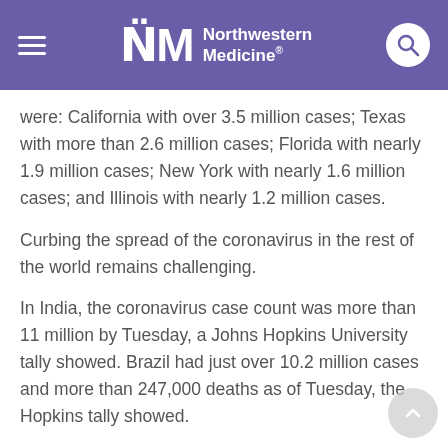Northwestern Medicine
were: California with over 3.5 million cases; Texas with more than 2.6 million cases; Florida with nearly 1.9 million cases; New York with nearly 1.6 million cases; and Illinois with nearly 1.2 million cases.
Curbing the spread of the coronavirus in the rest of the world remains challenging.
In India, the coronavirus case count was more than 11 million by Tuesday, a Johns Hopkins University tally showed. Brazil had just over 10.2 million cases and more than 247,000 deaths as of Tuesday, the Hopkins tally showed.
Worldwide, the number of reported infections passed 111.8 million on Tuesday, with nearly 2.5